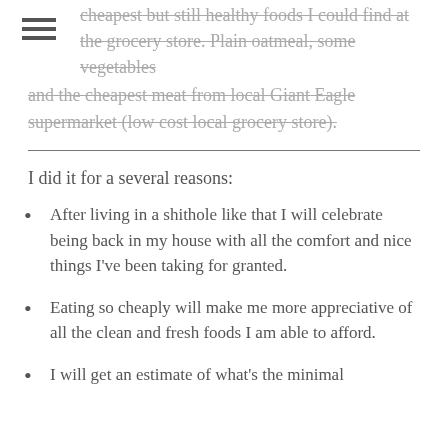cheapest but still healthy foods I could find at the grocery store. Plain oatmeal, some vegetables and the cheapest meat from local Giant Eagle supermarket (low cost local grocery store).
I did it for a several reasons:
After living in a shithole like that I will celebrate being back in my house with all the comfort and nice things I've been taking for granted.
Eating so cheaply will make me more appreciative of all the clean and fresh foods I am able to afford.
I will get an estimate of what's the minimal